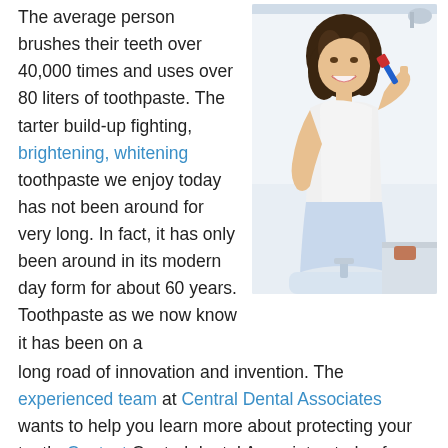The average person brushes their teeth over 40,000 times and uses over 80 liters of toothpaste. The tarter build-up fighting, brightening, whitening toothpaste we enjoy today has not been around for very long. In fact, it has only been around in its modern day form for about 60 years. Toothpaste as we now know it has been on a long road of innovation and invention. The experienced team at Central Dental Associates wants to help you learn more about protecting your teeth. Contact Central dental Associates today for your next appointment at their Norwood, MA dental office. The doctors of Central Dental
[Figure (photo): A woman in a white tank top and light blue skirt brushing her teeth at a bathroom sink with a red and blue toothbrush, smiling and looking at her toothbrush.]